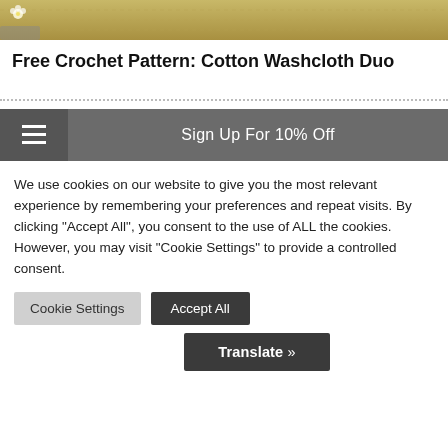[Figure (photo): Cropped photo of a crochet cotton washcloth in yellow/gold texture with a small white flower visible at the top left corner.]
Free Crochet Pattern: Cotton Washcloth Duo
[Figure (infographic): Navigation bar with hamburger menu icon on the left and 'Sign Up For 10% Off' text centered on a dark grey background.]
We use cookies on our website to give you the most relevant experience by remembering your preferences and repeat visits. By clicking “Accept All”, you consent to the use of ALL the cookies. However, you may visit "Cookie Settings" to provide a controlled consent.
Cookie Settings   Accept All
Translate »